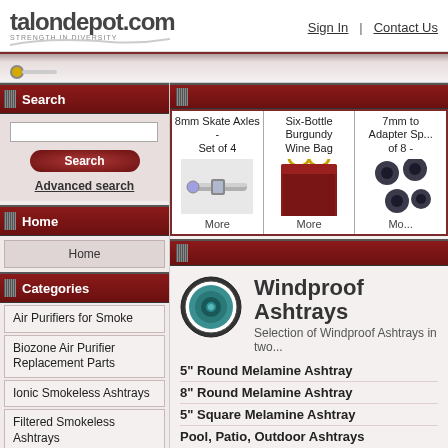talondepot.com | Sign In | Contact Us
Search
Advanced search
Home
Home
Categories
Air Purifiers for Smoke
Biozone Air Purifier Replacement Parts
Ionic Smokeless Ashtrays
Filtered Smokeless Ashtrays
[Figure (screenshot): 8mm Skate Axles - Set of 4 product image with silver axle rods]
8mm Skate Axles - Set of 4
More
[Figure (screenshot): Six-Bottle Burgundy Wine Bag product image - dark red fabric bag with gold handles]
Six-Bottle Burgundy Wine Bag
More
[Figure (screenshot): 7mm to Adapter Sprocket Set of 8 - dark round adapter pieces]
7mm to Adapter Sp... of 8 -
Mo...
[Figure (illustration): Circular ashtray icon with teal/green color]
Windproof Ashtrays
Selection of Windproof Ashtrays in two...
5" Round Melamine Ashtray
8" Round Melamine Ashtray
5" Square Melamine Ashtray
Pool, Patio, Outdoor Ashtrays